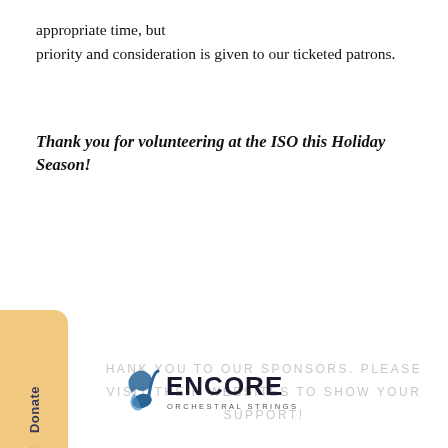appropriate time, but priority and consideration is given to our ticketed patrons.
Thank you for volunteering at the ISO this Holiday Season!
[Figure (other): Orange/tan donate tab widget on the left side with 'Donate' text rotated vertically and a heart icon]
THANK YOU TO OUR SPONSORS. PLEASE VISIT THEIR WEBSITES TO SHOW YOUR SUPPORT!
[Figure (logo): Encore Orchestral Strings logo with a stylized blue musical note and the text ENCORE ORCHESTRAL STRINGS]